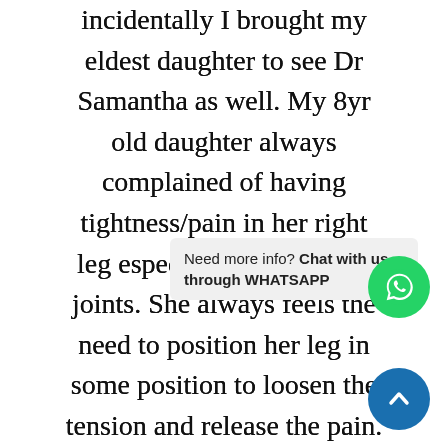incidentally I brought my eldest daughter to see Dr Samantha as well. My 8yr old daughter always complained of having tightness/pain in her right leg especially near her hip joints. She always feels the need to position her leg in some position to loosen the tension and release the pain. If she doesn't do this, she won't be able to sit/lie down for a long period. We did X-Ray and Dr Samantha had a look at her. Mostly it was tight muscles around her hip to her legs. And she had to do regular
[Figure (screenshot): WhatsApp chat popup overlay with text 'Need more info? Chat with us through WHATSAPP' and a green WhatsApp icon button]